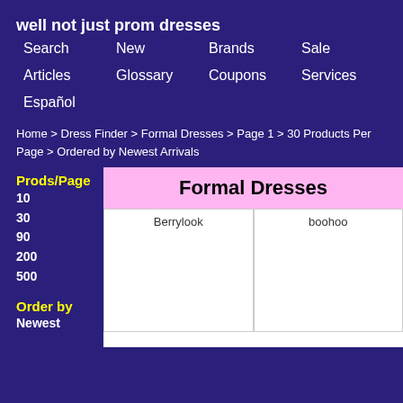well not just prom dresses
Search   New   Brands   Sale
Articles   Glossary   Coupons   Services
Español
Home > Dress Finder > Formal Dresses > Page 1 > 30 Products Per Page > Ordered by Newest Arrivals
Prods/Page
10
30
90
200
500
Order by
Newest
Formal Dresses
Berrylook
boohoo